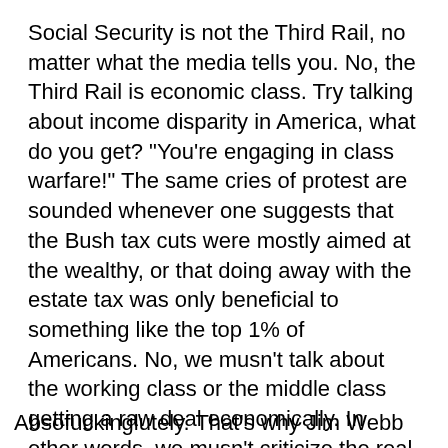Social Security is not the Third Rail, no matter what the media tells you. No, the Third Rail is economic class. Try talking about income disparity in America, what do you get? "You're engaging in class warfare!" The same cries of protest are sounded whenever one suggests that the Bush tax cuts were mostly aimed at the wealthy, or that doing away with the estate tax was only beneficial to something like the top 1% of Americans. No, we musn't talk about the working class or the middle class getting a raw deal economically. In other words, we musn't criticize the real elites in this country, namely the wealthy and the politically connected.
Absofuckinglutely. That's why Jim Webb